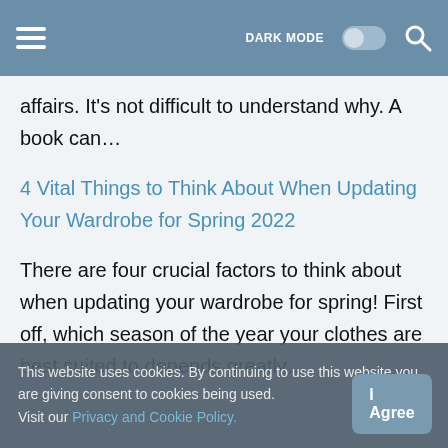DARK MODE [toggle] [search]
affairs. It's not difficult to understand why. A book can…
4 Vital Things to Think About When Updating Your Wardrobe for Spring 2022
There are four crucial factors to think about when updating your wardrobe for spring! First off, which season of the year your clothes are best suited to depends greatly…
This website uses cookies. By continuing to use this website you are giving consent to cookies being used. Visit our Privacy and Cookie Policy.
When you first enter the GTA 5 world, the expansiv… Los Santos map and the wide range of challenging